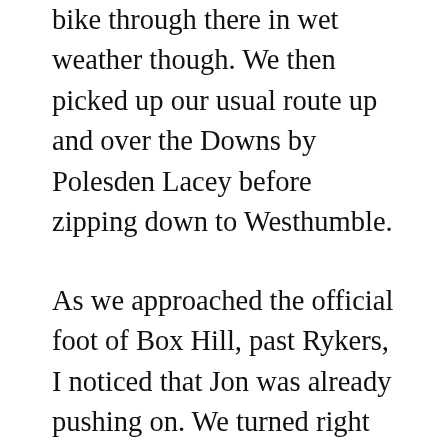bike through there in wet weather though. We then picked up our usual route up and over the Downs by Polesden Lacey before zipping down to Westhumble.
As we approached the official foot of Box Hill, past Rykers, I noticed that Jon was already pushing on. We turned right into the ascent proper and he was setting a very steady pace and I decided to hang on to his rear wheel. We passed a lady cycling up and said hello. She laughed about jumping onto to our back wheel and we said it was fine. Jon’s pace didn’t waver one bit as we hit the first hairpin and shortly up the second leg I tentatively offered to take a spell at the front and was very pleased when he said he was fine and just concentrating on his